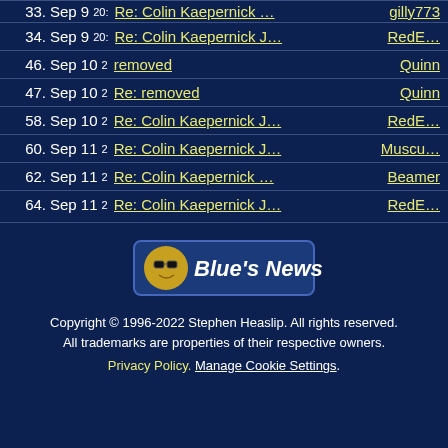33. Sep 9 20: Re: Colin Kaepernick... gilly773
34. Sep 9 20: Re: Colin Kaepernick J... RedE...
46. Sep 10 2 removed Quinn
47. Sep 10 2 Re: removed Quinn
58. Sep 10 2 Re: Colin Kaepernick J... RedE...
60. Sep 11 2 Re: Colin Kaepernick J... Muscu...
62. Sep 11 2 Re: Colin Kaepernick ... Beamer
64. Sep 11 2 Re: Colin Kaepernick J... RedE...
[Figure (logo): Blue's News logo with cartoon character icon]
Copyright © 1996-2022 Stephen Heaslip. All rights reserved.
All trademarks are properties of their respective owners.
Privacy Policy. Manage Cookie Settings.